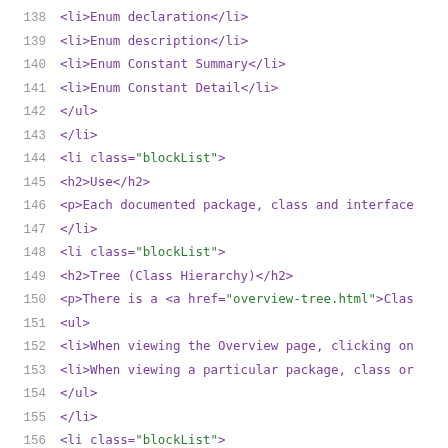138   <li>Enum declaration</li>
139   <li>Enum description</li>
140   <li>Enum Constant Summary</li>
141   <li>Enum Constant Detail</li>
142   </ul>
143   </li>
144   <li class="blockList">
145   <h2>Use</h2>
146   <p>Each documented package, class and interface
147   </li>
148   <li class="blockList">
149   <h2>Tree (Class Hierarchy)</h2>
150   <p>There is a <a href="overview-tree.html">Class
151   <ul>
152   <li>When viewing the Overview page, clicking on
153   <li>When viewing a particular package, class or
154   </ul>
155   </li>
156   <li class="blockList">
157   <h2>Deprecated API</h2>
158   <p>The <a href="deprecated-list.html">Deprecate
159   </li>